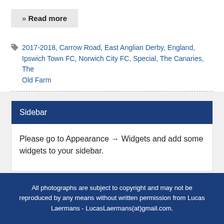» Read more
2017-2018, Carrow Road, East Anglian Derby, England, Ipswich Town FC, Norwich City FC, Special, The Canaries, The Old Farm
Sidebar
Please go to Appearance → Widgets and add some widgets to your sidebar.
All photographs are subject to copyright and may not be reproduced by any means without written permission from Lucas Laermans - LucasLaermans(at)gmail.com.